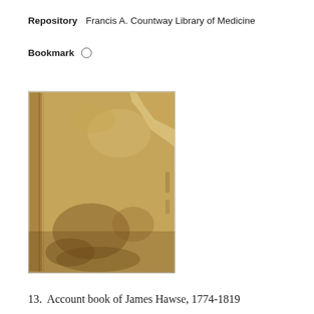Repository   Francis A. Countway Library of Medicine
Bookmark   ○
[Figure (photo): Photograph of a worn, aged leather-bound book cover, showing a tan/brown color with significant wear, creasing, and damage to the top right corner of the cover.]
13.  Account book of James Hawse, 1774-1819